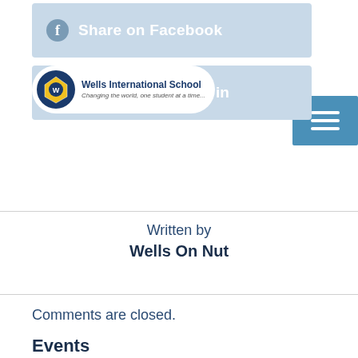[Figure (screenshot): Facebook Share on Facebook button (blue/grey button with Facebook f icon and white text)]
[Figure (screenshot): Wells International School logo and LinkedIn share button overlay]
[Figure (screenshot): Hamburger menu icon (three horizontal white lines on blue square background)]
Written by
Wells On Nut
Comments are closed.
Events
[calendar id="9446"]